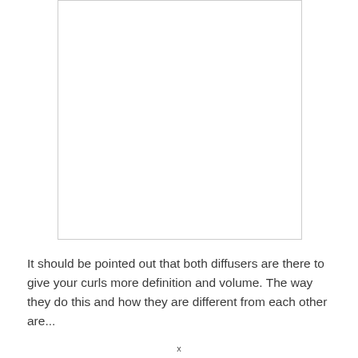[Figure (photo): A blank/white rectangular image placeholder with a light gray border]
It should be pointed out that both diffusers are there to give your curls more definition and volume. The way they do this and how they are different from each other are...
x